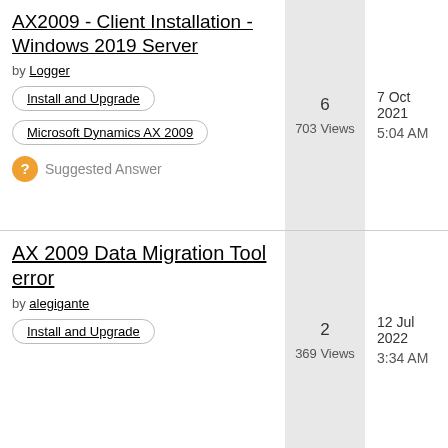AX2009 - Client Installation - Windows 2019 Server
by Logger
Install and Upgrade
Microsoft Dynamics AX 2009
Suggested Answer
6 | 703 Views
7 Oct 2021 5:04 AM
AX 2009 Data Migration Tool error
by alegigante
Install and Upgrade
2 | 369 Views
12 Jul 2022 3:34 AM